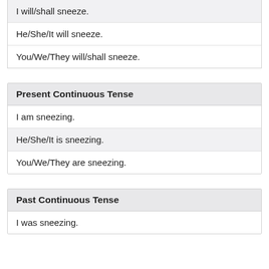| I will/shall sneeze. |
| He/She/It will sneeze. |
| You/We/They will/shall sneeze. |
| Present Continuous Tense |
| --- |
| I am sneezing. |
| He/She/It is sneezing. |
| You/We/They are sneezing. |
| Past Continuous Tense |
| --- |
| I was sneezing. |